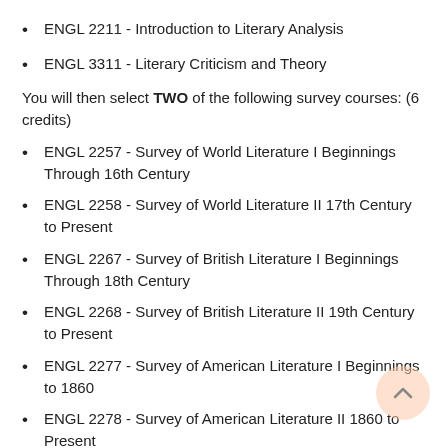ENGL 2211 - Introduction to Literary Analysis
ENGL 3311 - Literary Criticism and Theory
You will then select TWO of the following survey courses: (6 credits)
ENGL 2257 - Survey of World Literature I Beginnings Through 16th Century
ENGL 2258 - Survey of World Literature II 17th Century to Present
ENGL 2267 - Survey of British Literature I Beginnings Through 18th Century
ENGL 2268 - Survey of British Literature II 19th Century to Present
ENGL 2277 - Survey of American Literature I Beginnings to 1860
ENGL 2278 - Survey of American Literature II 1860 to Present